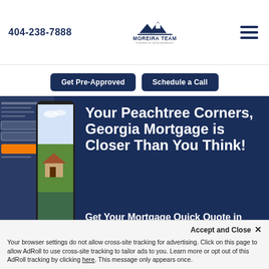404-238-7888
[Figure (logo): Moreira Team powered by MortgageRight logo with house/mountain icon]
Get Pre-Approved
Schedule a Call
Your Peachtree Corners, Georgia Mortgage is Closer Than You Think!
Get Your Mortgage Quick Quote in Less Than a Minute!
Your browser settings do not allow cross-site tracking for advertising. Click on this page to allow AdRoll to use cross-site tracking to tailor ads to you. Learn more or opt out of this AdRoll tracking by clicking here. This message only appears once.